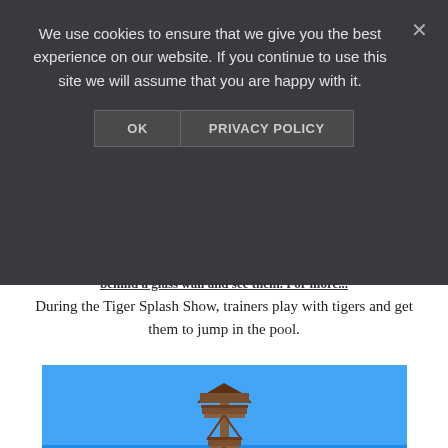We use cookies to ensure that we give you the best experience on our website. If you continue to use this site we will assume that you are happy with it.
During the Tiger Splash Show, trainers play with tigers and get them to jump in the pool.
[Figure (photo): A wooden observation tower/lookout tower photographed against a clear bright blue sky. The tall wooden structure has multiple viewing platforms and a spiral staircase, brown in color.]